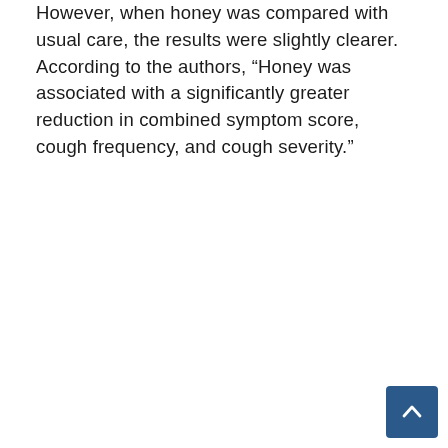However, when honey was compared with usual care, the results were slightly clearer. According to the authors, “Honey was associated with a significantly greater reduction in combined symptom score, cough frequency, and cough severity.”
[Figure (other): Scroll-to-top button: a dark blue square button with a white upward arrow icon, positioned in the bottom-right corner]